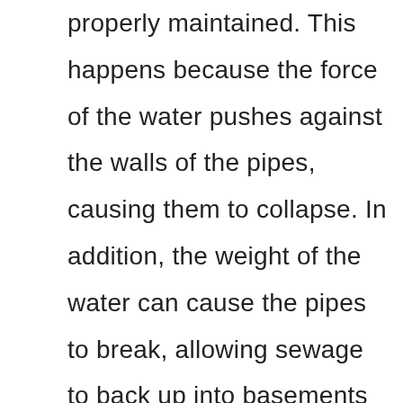properly maintained. This happens because the force of the water pushes against the walls of the pipes, causing them to collapse. In addition, the weight of the water can cause the pipes to break, allowing sewage to back up into basements and crawl spaces. Sewage backup can occur